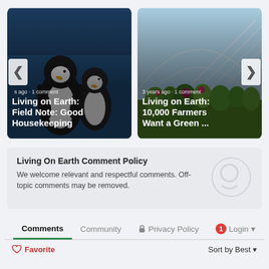[Figure (photo): Penguin photo card with title overlay: 'Living on Earth: Field Note: Good Housekeeping', meta: 's ago · 1 comment']
[Figure (photo): Greenhouse/garden photo card with title overlay: 'Living on Earth: 10,000 Farmers Want a Green ...', meta: '3 years ago · 1 comment']
Living On Earth Comment Policy
We welcome relevant and respectful comments. Off-topic comments may be removed.
Comments | Community | Privacy Policy | Login
Favorite | Sort by Best